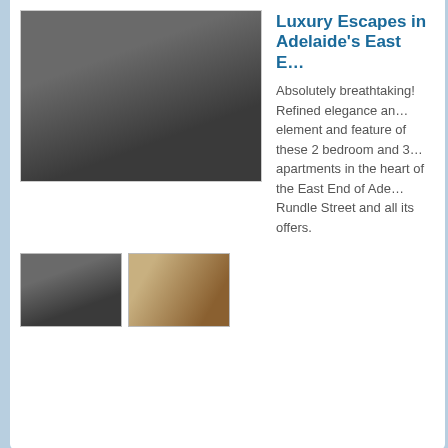[Figure (photo): Interior staircase with framed pictures on wall]
Luxury Escapes in Adelaide's East E…
Absolutely breathtaking! Refined elegance and element and feature of these 2 bedroom and 3 apartments in the heart of the East End of Ade… Rundle Street and all its offers.
[Figure (photo): Thumbnail of staircase interior]
[Figure (photo): Thumbnail of dining/living room]
[Figure (photo): Outdoor view of building with trees and greenery]
Adelaide Parisienne Apartments
2 Bedroom self contained apartment with a sp featuring high ceilings, balcony overlooking th treetops.1 Kingsize Bed and 2 single beds wit leather lounge, antique furnishings, art & Pers…
[Figure (photo): Thumbnail of outdoor building view]
[Figure (photo): Thumbnail of interior living room]
[Figure (photo): Thumbnail of interior room]
[Figure (photo): Thumbnail of bedroom or bathroom]